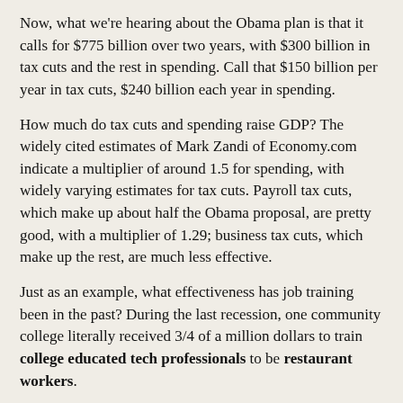Now, what we're hearing about the Obama plan is that it calls for $775 billion over two years, with $300 billion in tax cuts and the rest in spending. Call that $150 billion per year in tax cuts, $240 billion each year in spending.
How much do tax cuts and spending raise GDP? The widely cited estimates of Mark Zandi of Economy.com indicate a multiplier of around 1.5 for spending, with widely varying estimates for tax cuts. Payroll tax cuts, which make up about half the Obama proposal, are pretty good, with a multiplier of 1.29; business tax cuts, which make up the rest, are much less effective.
Just as an example, what effectiveness has job training been in the past? During the last recession, one community college literally received 3/4 of a million dollars to train college educated tech professionals to be restaurant workers.
If retraining isn't effective or doing absurd things like the above, then it should be cut. Congress could simply attach these new jobs to U.S. citizens, perm residents status plus they could easily incorporate on the job training in the process. Effectiveness is key and there are many underemployed and unemployed Americans with the skills and technical and technical literacy for future opportunities.